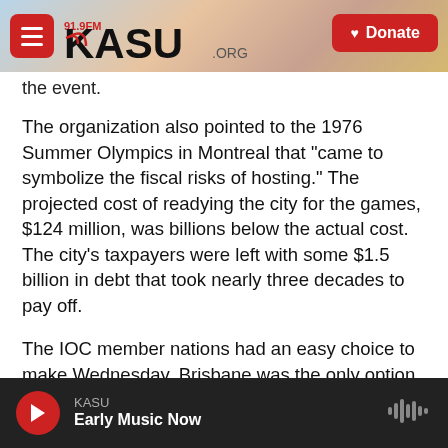KASU 91.9FM .ORG — Donate
the event.
The organization also pointed to the 1976 Summer Olympics in Montreal that "came to symbolize the fiscal risks of hosting." The projected cost of readying the city for the games, $124 million, was billions below the actual cost. The city's taxpayers were left with some $1.5 billion in debt that took nearly three decades to pay off.
The IOC member nations had an easy choice to make Wednesday. Brisbane was the only option still in the running to be a host city.
KASU — Early Music Now